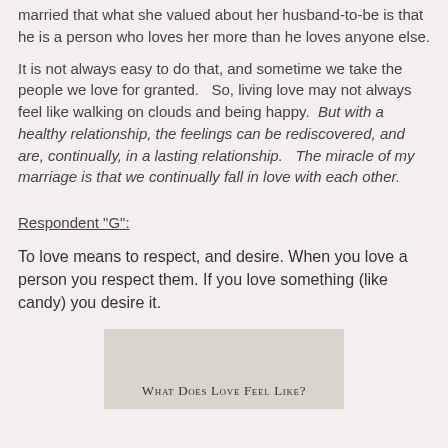married that what she valued about her husband-to-be is that he is a person who loves her more than he loves anyone else.
It is not always easy to do that, and sometime we take the people we love for granted.   So, living love may not always feel like walking on clouds and being happy.  But with a healthy relationship, the feelings can be rediscovered, and are, continually, in a lasting relationship.   The miracle of my marriage is that we continually fall in love with each other.
Respondent "G":
To love means to respect, and desire. When you love a person you respect them. If you love something (like candy) you desire it.
[Figure (other): A gray-background box with the text 'What Does Love Feel Like?' in small-caps serif font]